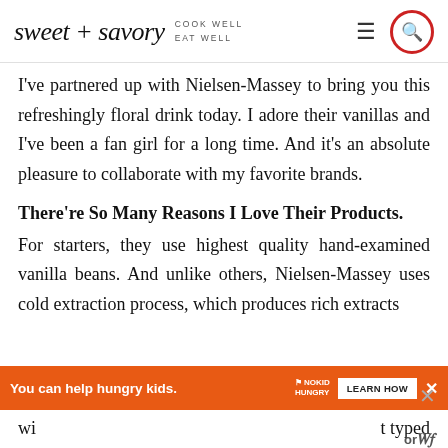sweet + savory — COOK WELL EAT WELL
I've partnered up with Nielsen-Massey to bring you this refreshingly floral drink today. I adore their vanillas and I've been a fan girl for a long time. And it's an absolute pleasure to collaborate with my favorite brands.
There're So Many Reasons I Love Their Products.
For starters, they use highest quality hand-examined vanilla beans. And unlike others, Nielsen-Massey uses cold extraction process, which produces rich extracts
[Figure (screenshot): Orange advertisement banner: 'You can help hungry kids.' with No Kid Hungry logo and LEARN HOW button]
with the finest flavors...